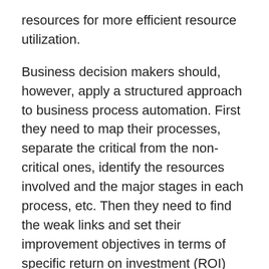resources for more efficient resource utilization.
Business decision makers should, however, apply a structured approach to business process automation. First they need to map their processes, separate the critical from the non-critical ones, identify the resources involved and the major stages in each process, etc. Then they need to find the weak links and set their improvement objectives in terms of specific return on investment (ROI) and measures of performance (MOPs). Finally, they need to carefully evaluate existing (deployed and those available on the market) technologies and solutions in order to select the one(s) that best addresses their needs.
For more information on the IPA solution and business process automation, please join us for this webinar on June 25, 2009.